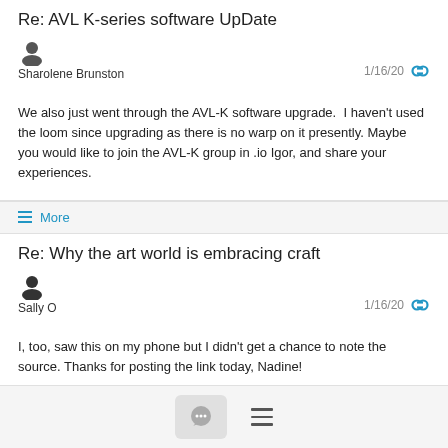Re: AVL K-series software UpDate
Sharolene Brunston — 1/16/20
We also just went through the AVL-K software upgrade. I haven't used the loom since upgrading as there is no warp on it presently. Maybe you would like to join the AVL-K group in .io Igor, and share your experiences.
Re: Why the art world is embracing craft
Sally O — 1/16/20
I, too, saw this on my phone but I didn't get a chance to note the source. Thanks for posting the link today, Nadine!